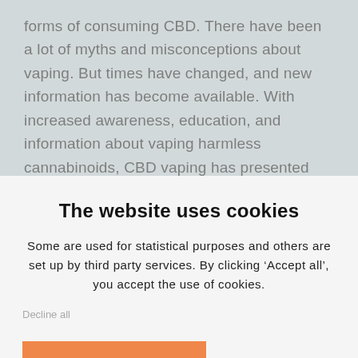forms of consuming CBD. There have been a lot of myths and misconceptions about vaping. But times have changed, and new information has become available. With increased awareness, education, and information about vaping harmless cannabinoids, CBD vaping has presented itself as a non-toxic
The website uses cookies
Some are used for statistical purposes and others are set up by third party services. By clicking ‘Accept all’, you accept the use of cookies.
Decline all
ACCEPT ALL
SHOW DETAILS